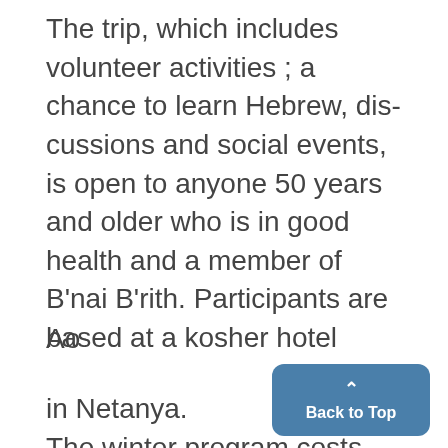The trip, which includes volunteer activities ; a chance to learn Hebrew, dis- cussions and social events, is open to anyone 50 years and older who is in good health and a member of B'nai B'rith. Participants are based at a kosher hotel
Ao
in Netanya.
The winter program costs